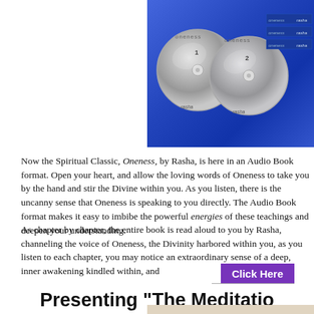[Figure (photo): Photo of two CDs labeled 'rasha' on a blue fabric background, with book spines labeled 'oneness' and 'rasha' visible on the right side.]
Now the Spiritual Classic, Oneness, by Rasha, is here in an Audio Book format. Open your heart, and allow the loving words of Oneness to take you by the hand and stir the Divine within you. As you listen, there is the uncanny sense that Oneness is speaking to you directly. The Audio Book format makes it easy to imbibe the powerful energies of these teachings and deepen your understanding.
As chapter by chapter, the entire book is read aloud to you by Rasha, channeling the voice of Oneness, the Divinity harbored within you, as you listen to each chapter, you may notice an extraordinary sense of a deep, inner awakening kindled within, and ...
[Figure (other): Click Here button in purple/violet color]
Presenting "The Meditation"
[Figure (photo): Partial bottom image with beige/tan background visible]